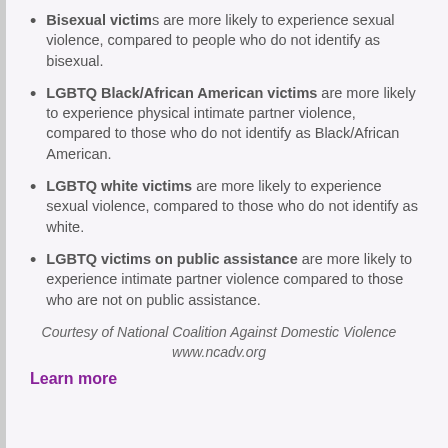Bisexual victims are more likely to experience sexual violence, compared to people who do not identify as bisexual.
LGBTQ Black/African American victims are more likely to experience physical intimate partner violence, compared to those who do not identify as Black/African American.
LGBTQ white victims are more likely to experience sexual violence, compared to those who do not identify as white.
LGBTQ victims on public assistance are more likely to experience intimate partner violence compared to those who are not on public assistance.
Courtesy of National Coalition Against Domestic Violence
www.ncadv.org
Learn more